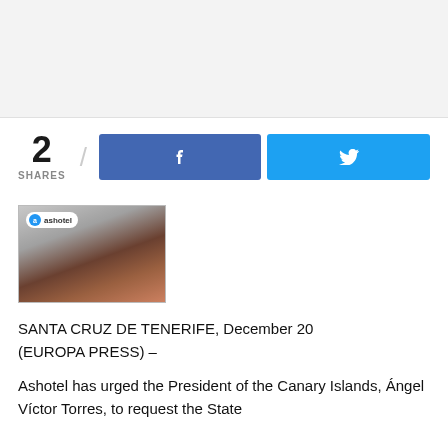[Figure (other): Gray banner/advertisement placeholder at top of page]
2
SHARES
[Figure (other): Facebook share button (blue) and Twitter share button (light blue)]
[Figure (photo): Photo of a man in a suit speaking at an event with an 'ashotel a' branded backdrop]
SANTA CRUZ DE TENERIFE, December 20 (EUROPA PRESS) –
Ashotel has urged the President of the Canary Islands, Ángel Víctor Torres, to request the State